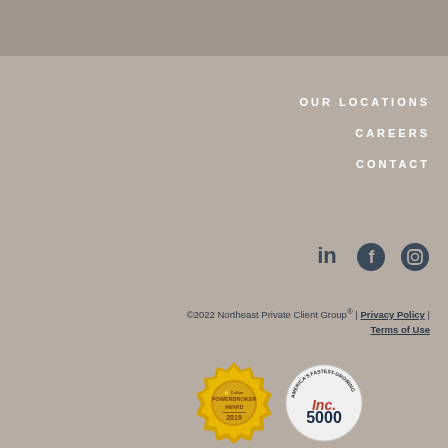OUR LOCATIONS
CAREERS
CONTACT
[Figure (illustration): Social media icons: LinkedIn, Facebook, Instagram]
©2022 Northeast Private Client Group® | Privacy Policy | Terms of Use
[Figure (other): CoStar PowerBroker Award 2019 badge (gold medallion) and Inc. 5000 America's Fastest Growing badge]
[Figure (other): Inc 5000 America's Fastest Growing badge circle]